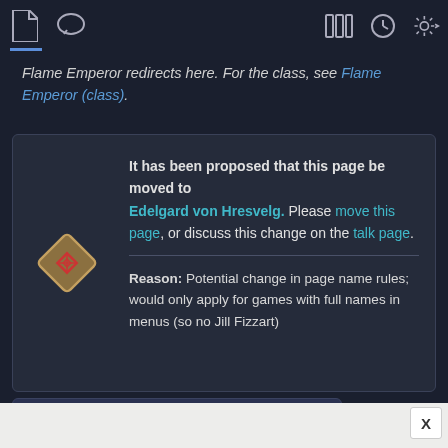Navigation bar with page, talk, sidebar, history, and settings icons
Flame Emperor redirects here. For the class, see Flame Emperor (class).
It has been proposed that this page be moved to Edelgard von Hresvelg. Please move this page, or discuss this change on the talk page.

Reason: Potential change in page name rules; would only apply for games with full names in menus (so no Jill Fizzart)
Edelgard von Hresvelg